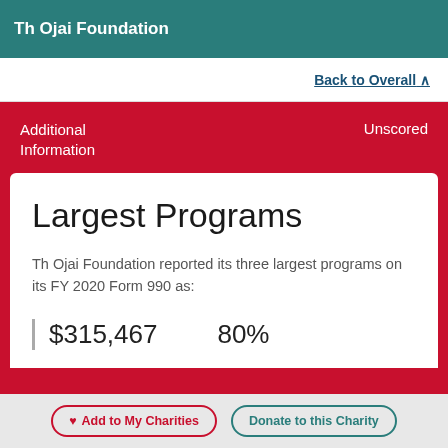Th Ojai Foundation
Back to Overall ^
Additional Information
Unscored
Largest Programs
Th Ojai Foundation reported its three largest programs on its FY 2020 Form 990 as:
$315,467   80%
Add to My Charities   Donate to this Charity